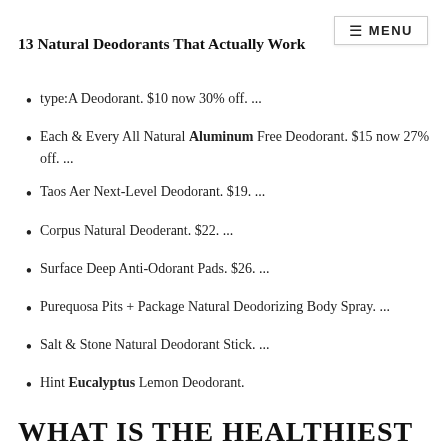≡ MENU
13 Natural Deodorants That Actually Work
type:A Deodorant. $10 now 30% off. ...
Each & Every All Natural Aluminum Free Deodorant. $15 now 27% off. ...
Taos Aer Next-Level Deodorant. $19. ...
Corpus Natural Deoderant. $22. ...
Surface Deep Anti-Odorant Pads. $26. ...
Purequosa Pits + Package Natural Deodorizing Body Spray. ...
Salt & Stone Natural Deodorant Stick. ...
Hint Eucalyptus Lemon Deodorant.
WHAT IS THE HEALTHIEST ...